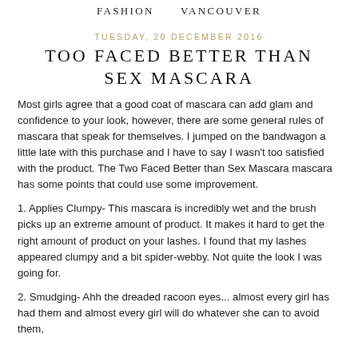FASHION     VANCOUVER
TUESDAY, 20 DECEMBER 2016
TOO FACED BETTER THAN SEX MASCARA
Most girls agree that a good coat of mascara can add glam and confidence to your look, however, there are some general rules of mascara that speak for themselves. I jumped on the bandwagon a little late with this purchase and I have to say I wasn't too satisfied with the product. The Two Faced Better than Sex Mascara mascara has some points that could use some improvement.
1. Applies Clumpy- This mascara is incredibly wet and the brush picks up an extreme amount of product. It makes it hard to get the right amount of product on your lashes. I found that my lashes appeared clumpy and a bit spider-webby. Not quite the look I was going for.
2. Smudging- Ahh the dreaded racoon eyes... almost every girl has had them and almost every girl will do whatever she can to avoid them,